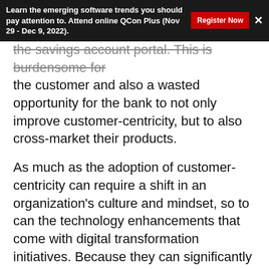Learn the emerging software trends you should pay attention to. Attend online QCon Plus (Nov 29 - Dec 9, 2022).
the savings account portal. This is burdensome for the customer and also a wasted opportunity for the bank to not only improve customer-centricity, but to also cross-market their products.
As much as the adoption of customer-centricity can require a shift in an organization's culture and mindset, so to can the technology enhancements that come with digital transformation initiatives. Because they can significantly progress the extent to which an organization has been automating its business, human workers that have been part of established operational processes can find their roles impacted or even eliminated.
Action item: An organizational transformation is